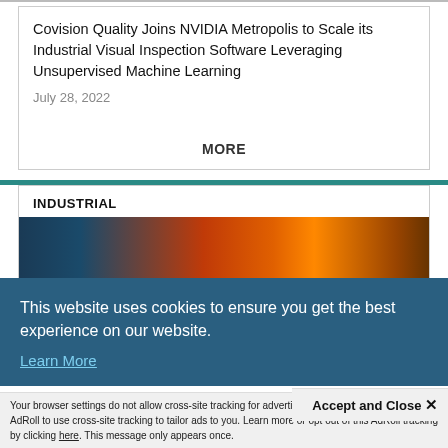Covision Quality Joins NVIDIA Metropolis to Scale its Industrial Visual Inspection Software Leveraging Unsupervised Machine Learning
July 28, 2022
MORE
INDUSTRIAL
[Figure (photo): Industrial visual inspection image strip with thermal/heat-map coloring showing gradient from dark blue to orange-red tones]
This website uses cookies to ensure you get the best experience on our website. Learn More
Accept and Close ✕
Your browser settings do not allow cross-site tracking for advertising. Click on this page to allow AdRoll to use cross-site tracking to tailor ads to you. Learn more or opt out of this AdRoll tracking by clicking here. This message only appears once.